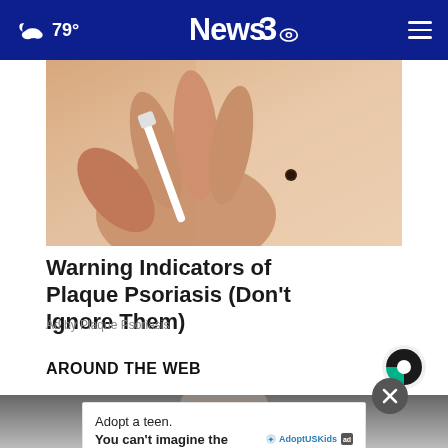79° News3
[Figure (photo): Close-up photo of a hand holding a white pen or medical instrument pointing at a small dark mole on pale skin]
Warning Indicators of Plaque Psoriasis (Don't Ignore Them)
Ad by Plaque Psoriasis
AROUND THE WEB
[Figure (logo): Taboola logo - black and green circular logo]
[Figure (photo): Bottom blurred/partial image area]
Adopt a teen. You can't imagine the reward.